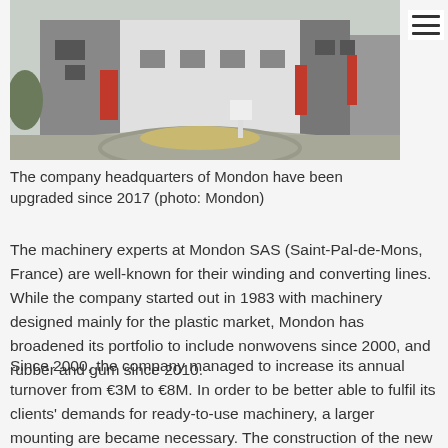[Figure (photo): Exterior photograph of the Mondon company headquarters building — a large modern industrial/warehouse facility with white and grey walls, red doors, and a paved driveway with landscaping.]
The company headquarters of Mondon have been upgraded since 2017 (photo: Mondon)
The machinery experts at Mondon SAS (Saint-Pal-de-Mons, France) are well-known for their winding and converting lines. While the company started out in 1983 with machinery designed mainly for the plastic market, Mondon has broadened its portfolio to include nonwovens since 2000, and rubber and gum since 2010.
Since 2000, the company managed to increase its annual turnover from €3M to €8M. In order to be better able to fulfil its clients' demands for ready-to-use machinery, a larger mounting are became necessary. The construction of the new workshop began in June 2017 and was finished in May 2018. Before the extension, Mondon had 600m2 in offices and 3000m2 of workshop area. Now, 2100 further square-metres are available. The investment was subsidised with